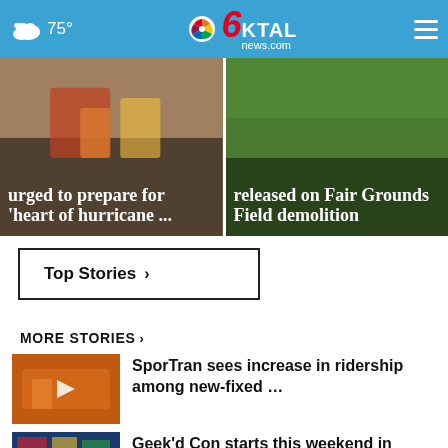75° KTAL news.com
[Figure (photo): Left: Emergency supplies photo with headline text overlay 'urged to prepare for 'heart of hurricane ...']
[Figure (photo): Right: Grass/field photo with headline text overlay 'released on Fair Grounds Field demolition']
Top Stories ›
MORE STORIES ›
[Figure (photo): Orange bus thumbnail with play icon]
SporTran sees increase in ridership among new-fixed …
[Figure (photo): Colorful convention thumbnail with play icon]
Geek'd Con starts this weekend in Shreveport
[Figure (photo): Dark thumbnail, third story partially visible]